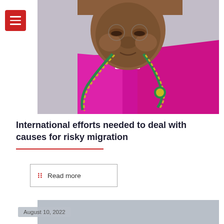[Figure (photo): Close-up portrait of a bishop or religious leader wearing a bright magenta/purple vestment with a green and gold rope/cord necklace (pectoral cross cord). The person has dark skin and is photographed against a light grey background.]
International efforts needed to deal with causes for risky migration
Read more
August 10, 2022